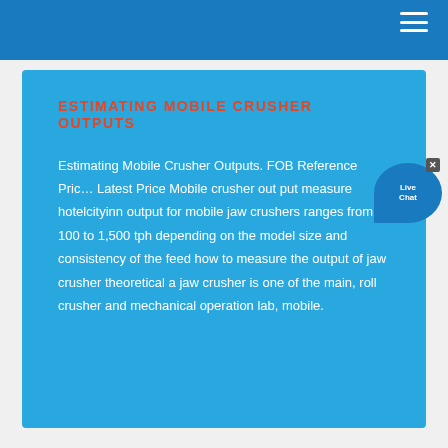ESTIMATING MOBILE CRUSHER OUTPUTS
Estimating Mobile Crusher Outputs. FOB Reference Price: Latest Price Mobile crusher out put measure hotelcityinn output for mobile jaw crushers ranges from 100 to 1,500 tph depending on the model size and consistency of the feed how to measure the output of jaw crusher theoretical a jaw crusher is one of the main, roll crusher and mechanical operation lab, mobile.